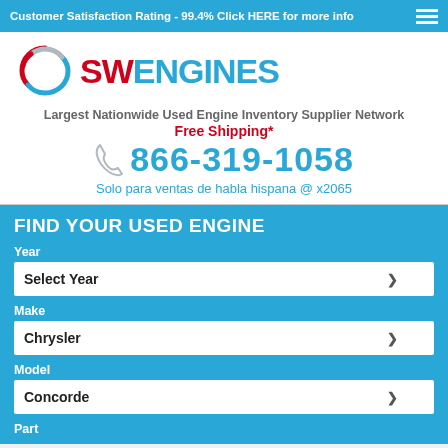Customer Satisfaction Rating - 99.4% Click HERE for more info
[Figure (logo): SWEngines logo with circular swirl icon and SW in red, ENGINES in blue]
Largest Nationwide Used Engine Inventory Supplier Network
Free Shipping*
866-319-1058
Solo para ventas de habla hispana @ x2065
FIND YOUR USED ENGINE
Year
Select Year
Make
Chrysler
Model
Concorde
Part